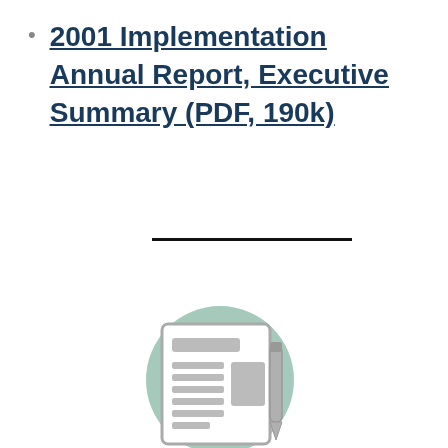2001 Implementation Annual Report, Executive Summary (PDF, 190k)
[Figure (illustration): A newspaper/document icon inside a muted green circle, with a stylized page showing headline and text columns, and a pen to the right.]